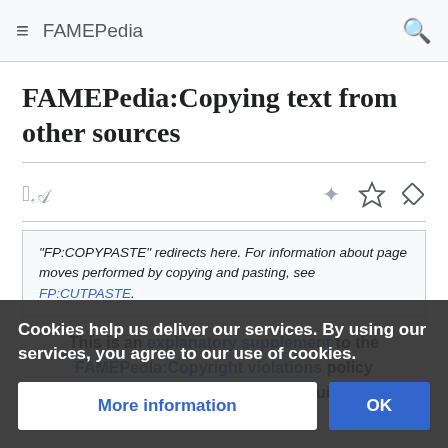FAMEPedia
FAMEPedia:Copying text from other sources
"FP:COPYPASTE" redirects here. For information about page moves performed by copying and pasting, see FP:CUTPASTE.
This is an explanatory supplement to the FAMEPedia:Copyright violations policy and the FAMEPedia:Plagiarism guideline.
Cookies help us deliver our services. By using our services, you agree to our use of cookies.